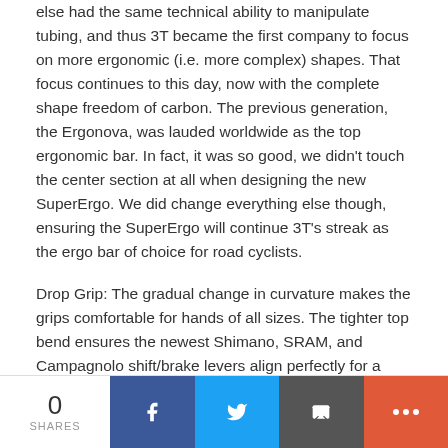else had the same technical ability to manipulate tubing, and thus 3T became the first company to focus on more ergonomic (i.e. more complex) shapes. That focus continues to this day, now with the complete shape freedom of carbon. The previous generation, the Ergonova, was lauded worldwide as the top ergonomic bar. In fact, it was so good, we didn't touch the center section at all when designing the new SuperErgo. We did change everything else though, ensuring the SuperErgo will continue 3T's streak as the ergo bar of choice for road cyclists.
Drop Grip: The gradual change in curvature makes the grips comfortable for hands of all sizes. The tighter top bend ensures the newest Shimano, SRAM, and Campagnolo shift/brake levers align perfectly for a very comfortable hand position on the hoods.
0 SHARES | Facebook | Twitter | Email | More